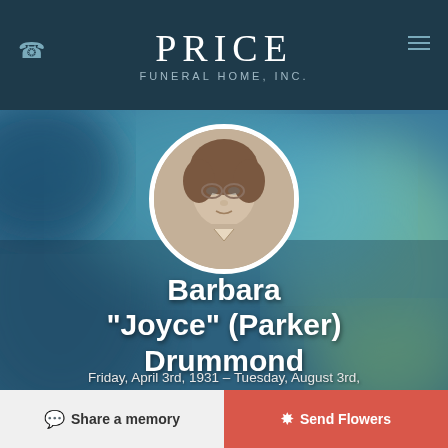PRICE FUNERAL HOME, INC.
[Figure (photo): Circular portrait photo of Barbara Joyce Parker Drummond, a black-and-white/sepia photo of a woman with glasses and curly hair, framed in a white circle border, overlaid on a soft bokeh background of blue, teal, and green colors.]
Barbara "Joyce" (Parker) Drummond
Friday, April 3rd, 1931 – Tuesday, August 3rd,
Share a memory
Send Flowers